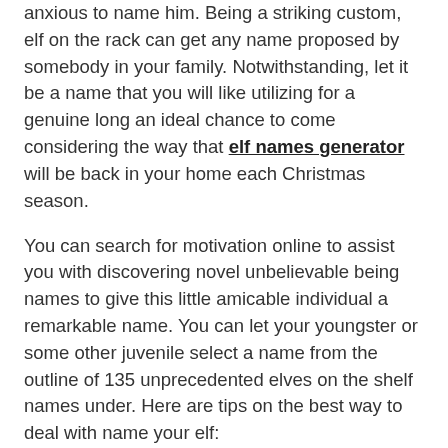anxious to name him. Being a striking custom, elf on the rack can get any name proposed by somebody in your family. Notwithstanding, let it be a name that you will like utilizing for a genuine long an ideal chance to come considering the way that elf names generator will be back in your home each Christmas season.
You can search for motivation online to assist you with discovering novel unbelievable being names to give this little amicable individual a remarkable name. You can let your youngster or some other juvenile select a name from the outline of 135 unprecedented elves on the shelf names under. Here are tips on the best way to deal with name your elf:
Utilize our elf name generator
On the off chance that you don't get the opportunity to contemplate a name or